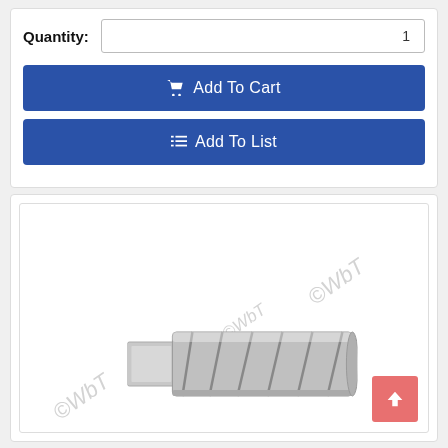Quantity: 1
Add To Cart
Add To List
[Figure (photo): A metallic annular cutter / drill bit tool shown horizontally with helical flutes, watermarked with ©WbT in multiple locations.]